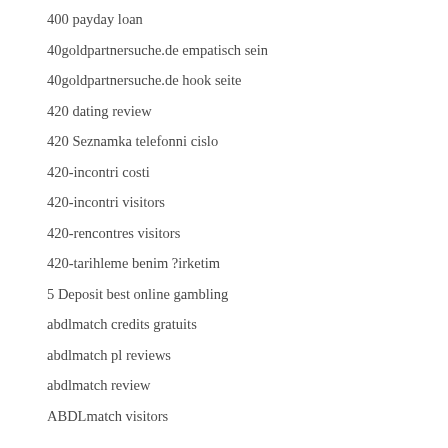400 payday loan
40goldpartnersuche.de empatisch sein
40goldpartnersuche.de hook seite
420 dating review
420 Seznamka telefonni cislo
420-incontri costi
420-incontri visitors
420-rencontres visitors
420-tarihleme benim ?irketim
5 Deposit best online gambling
abdlmatch credits gratuits
abdlmatch pl reviews
abdlmatch review
ABDLmatch visitors